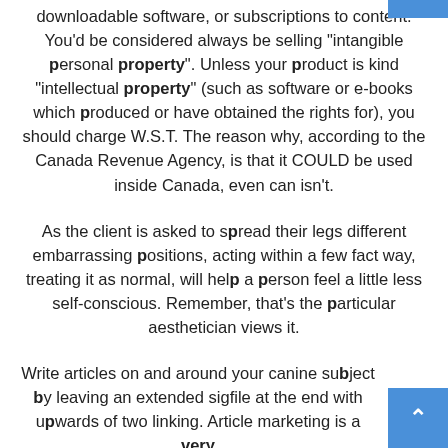downloadable software, or subscriptions to content. You'd be considered always be selling "intangible personal property". Unless your product is kind "intellectual property" (such as software or e-books which produced or have obtained the rights for), you should charge W.S.T. The reason why, according to the Canada Revenue Agency, is that it COULD be used inside Canada, even can isn't.
As the client is asked to spread their legs different embarrassing positions, acting within a few fact way, treating it as normal, will help a person feel a little less self-conscious. Remember, that's the particular aesthetician views it.
Write articles on and around your canine subject by leaving an extended sigfile at the end with upwards of two linking. Article marketing is a very